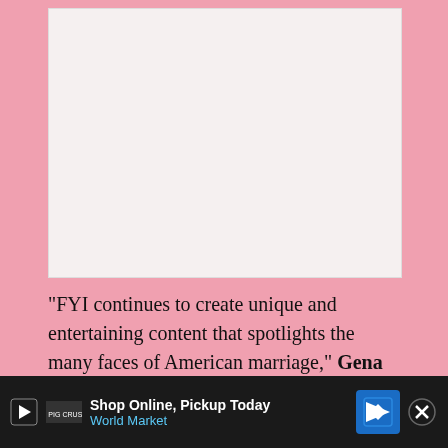[Figure (photo): Light-colored empty image area placeholder at top of page]
“FYI continues to create unique and entertaining content that spotlights the many faces of American marriage,” Gena McCarthy, Senior VP of programming and development for FYI, said in a statement. ‘Teenage Newlyweds’ joins ‘Married at First Sight,’ ‘Arranged’ and ‘The Seven Year Switch’ as our fore...to relationship...
[Figure (other): Advertisement banner: Shop Online, Pickup Today - World Market with navigation icon and close button]